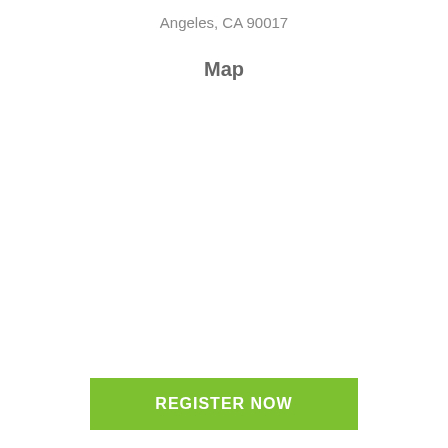Angeles, CA 90017
Map
[Figure (map): Empty map placeholder area]
REGISTER NOW